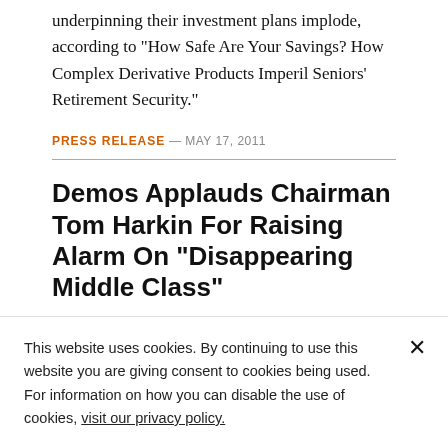underpinning their investment plans implode, according to "How Safe Are Your Savings? How Complex Derivative Products Imperil Seniors' Retirement Security."
PRESS RELEASE — MAY 17, 2011
Demos Applauds Chairman Tom Harkin For Raising Alarm On "Disappearing Middle Class"
This website uses cookies. By continuing to use this website you are giving consent to cookies being used. For information on how you can disable the use of cookies, visit our privacy policy.